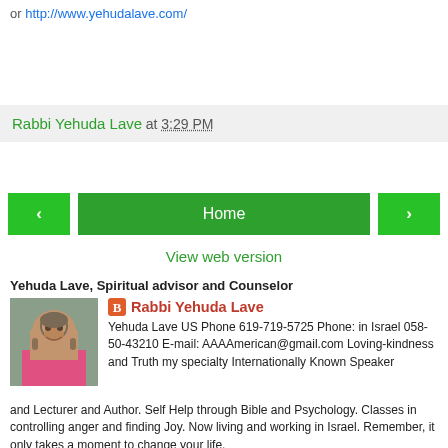or http://www.yehudalave.com/
Rabbi Yehuda Lave at 3:29 PM
Home
View web version
Yehuda Lave, Spiritual advisor and Counselor
Rabbi Yehuda Lave
Yehuda Lave US Phone 619-719-5725 Phone: in Israel 058-50-43210 E-mail: AAAAmerican@gmail.com Loving-kindness and Truth my specialty Internationally Known Speaker and Lecturer and Author. Self Help through Bible and Psychology. Classes in controlling anger and finding Joy. Now living and working in Israel. Remember, it only takes a moment to change your life.